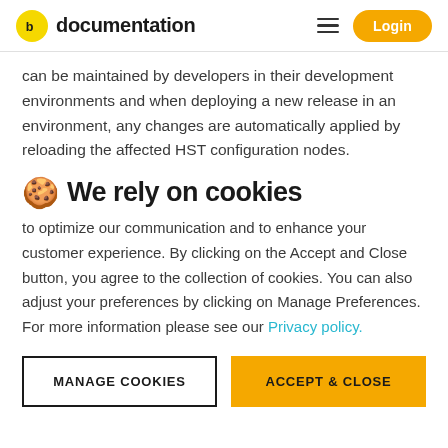documentation | Login
can be maintained by developers in their development environments and when deploying a new release in an environment, any changes are automatically applied by reloading the affected HST configuration nodes.
🍪 We rely on cookies
to optimize our communication and to enhance your customer experience. By clicking on the Accept and Close button, you agree to the collection of cookies. You can also adjust your preferences by clicking on Manage Preferences. For more information please see our Privacy policy.